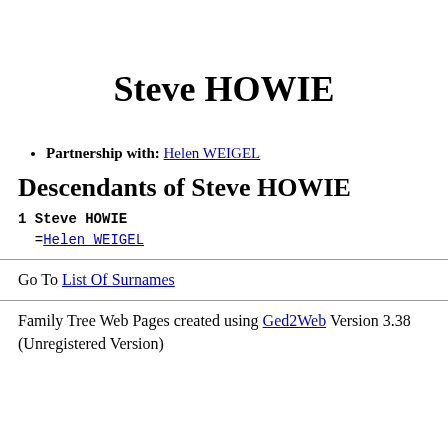Steve HOWIE
Partnership with: Helen WEIGEL
Descendants of Steve HOWIE
1 Steve HOWIE
  =Helen WEIGEL
Go To List Of Surnames
Family Tree Web Pages created using Ged2Web Version 3.38 (Unregistered Version)